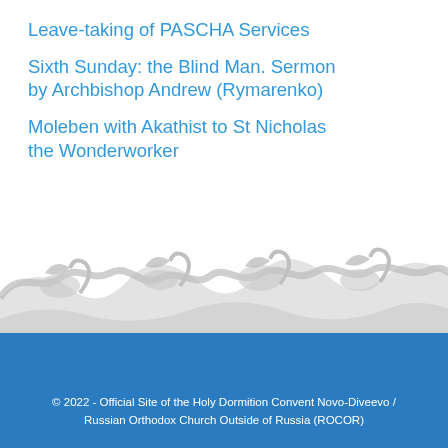Leave-taking of PASCHA Services
Sixth Sunday: the Blind Man. Sermon by Archbishop Andrew (Rymarenko)
Moleben with Akathist to St Nicholas the Wonderworker
[Figure (illustration): Decorative floral/scroll ornament in light grey on white, above a blue banner background]
© 2022 - Official Site of the Holy Dormition Convent Novo-Diveevo / Russian Orthodox Church Outside of Russia (ROCOR)